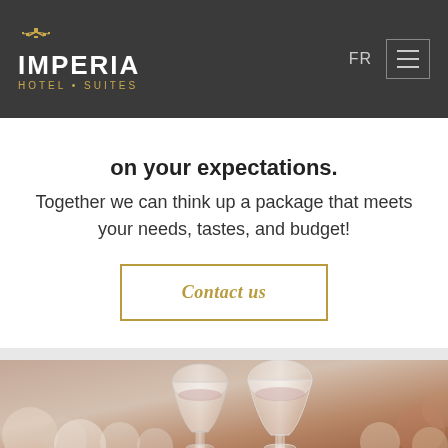IMPERIA HOTEL • SUITES — FR
on your expectations.
Together we can think up a package that meets your needs, tastes, and budget!
Contact us
[Figure (photo): Close-up photo of wine glasses on a table with blurred warm-toned background]